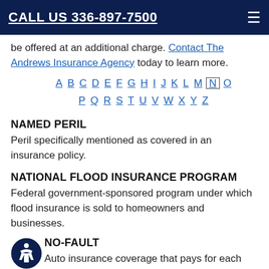CALL US 336-897-7500
be offered at an additional charge. Contact The Andrews Insurance Agency today to learn more.
A B C D E F G H I J K L M N O P Q R S T U V W X Y Z
NAMED PERIL
Peril specifically mentioned as covered in an insurance policy.
NATIONAL FLOOD INSURANCE PROGRAM
Federal government-sponsored program under which flood insurance is sold to homeowners and businesses.
NO-FAULT
Auto insurance coverage that pays for each driver's own injuries, regardless of